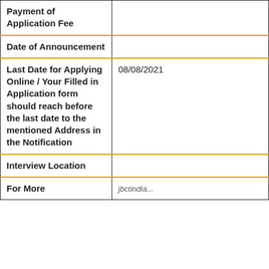| Field | Value |
| --- | --- |
| Payment of Application Fee |  |
| Date of Announcement |  |
| Last Date for Applying Online / Your Filled in Application form should reach before the last date to the mentioned Address in the Notification | 08/08/2021 |
| Interview Location |  |
| For More |  |